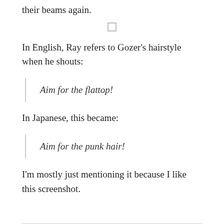their beams again.
[Figure (other): Small square checkbox or image placeholder icon centered on the page]
In English, Ray refers to Gozer’s hairstyle when he shouts:
Aim for the flattop!
In Japanese, this became:
Aim for the punk hair!
I’m mostly just mentioning it because I like this screenshot.